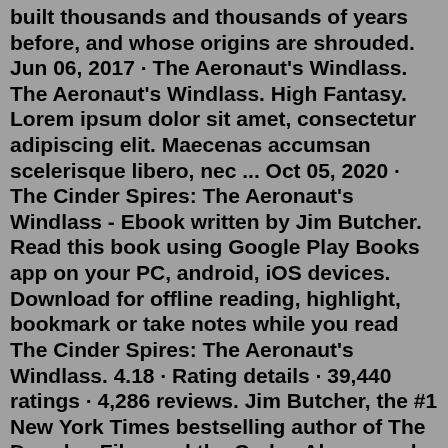built thousands and thousands of years before, and whose origins are shrouded. Jun 06, 2017 · The Aeronaut's Windlass. The Aeronaut's Windlass. High Fantasy. Lorem ipsum dolor sit amet, consectetur adipiscing elit. Maecenas accumsan scelerisque libero, nec ... Oct 05, 2020 · The Cinder Spires: The Aeronaut's Windlass - Ebook written by Jim Butcher. Read this book using Google Play Books app on your PC, android, iOS devices. Download for offline reading, highlight, bookmark or take notes while you read The Cinder Spires: The Aeronaut's Windlass. 4.18 · Rating details · 39,440 ratings · 4,286 reviews. Jim Butcher, the #1 New York Times bestselling author of The Dresden Files and the Codex Alera novels, conjures up a new series set in a fantastic world of noble families, steam-powered technology, and magic-wielding warriors…. Since time immemorial, the Spires have sheltered humanity ... Aeronaut's Windlass Next Book / Previous Book. Release Date. Cover Art. Narrative Type and Character Perspectives. Synopsis. Since time